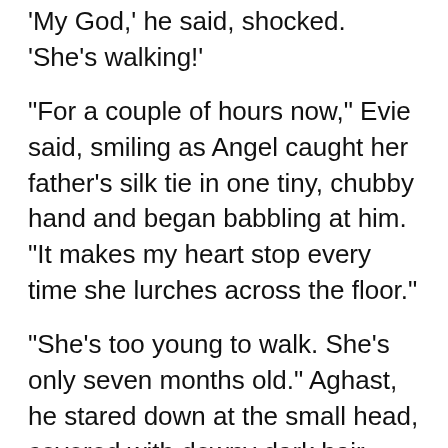'My God,' he said, shocked. 'She's walking!'
"For a couple of hours now," Evie said, smiling as Angel caught her father's silk tie in one tiny, chubby hand and began babbling at him. "It makes my heart stop every time she lurches across the floor."
"She's too young to walk. She's only seven months old." Aghast, he stared down at the small head, covered with downy dark hair, that butted against his chest. He had been just as aghast when she had started crawling at five months. If he could, Robert would have kept his darling offspring as a babe in arms for the first five years of her life. She, however, was